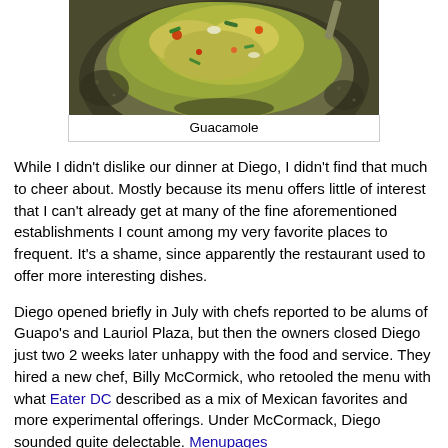[Figure (photo): A molcajete (stone mortar bowl) filled with guacamole, viewed from above, with colorful ingredients visible.]
Guacamole
While I didn't dislike our dinner at Diego, I didn't find that much to cheer about. Mostly because its menu offers little of interest that I can't already get at many of the fine aforementioned establishments I count among my very favorite places to frequent. It's a shame, since apparently the restaurant used to offer more interesting dishes.
Diego opened briefly in July with chefs reported to be alums of Guapo's and Lauriol Plaza, but then the owners closed Diego just two 2 weeks later unhappy with the food and service. They hired a new chef, Billy McCormick, who retooled the menu with what Eater DC described as a mix of Mexican favorites and more experimental offerings. Under McCormack, Diego sounded quite delectable. Menupages